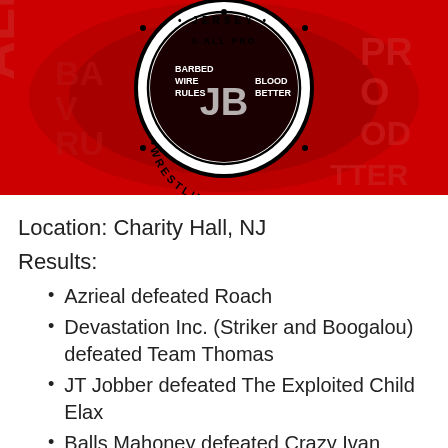[Figure (logo): Jersey Pro Wrestling logo on a red background with barbed wire design, circular badge with text: ALL BALL PRO, BARBED WIRE RULES BLOOD BETTER, WRESTLING]
Location: Charity Hall, NJ
Results:
Azrieal defeated Roach
Devastation Inc. (Striker and Boogalou) defeated Team Thomas
JT Jobber defeated The Exploited Child Elax
Balls Mahoney defeated Crazy Ivan